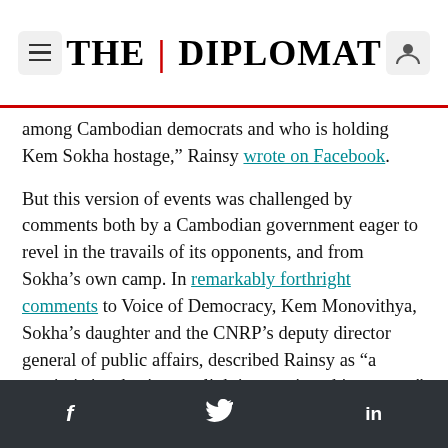THE DIPLOMAT
among Cambodian democrats and who is holding Kem Sokha hostage,” Rainsy wrote on Facebook.
But this version of events was challenged by comments both by a Cambodian government eager to revel in the travails of its opponents, and from Sokha’s own camp. In remarkably forthright comments to Voice of Democracy, Kem Monovithya, Sokha’s daughter and the CNRP’s deputy director general of public affairs, described Rainsy as “a narcissistic, abusive, gaslighting, sociopathic partner.” She pointed to a pattern in which “statements were officially made by his lawyers and myself on his behalf while he was still in CC3 prison
f     🐦     in